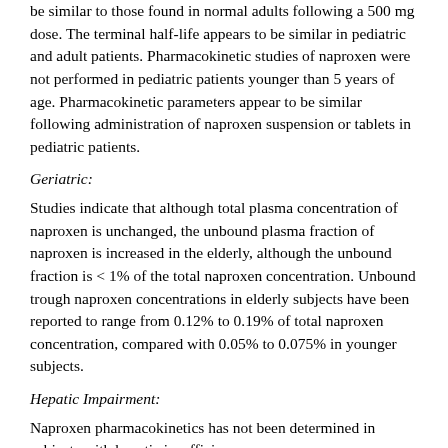be similar to those found in normal adults following a 500 mg dose. The terminal half-life appears to be similar in pediatric and adult patients. Pharmacokinetic studies of naproxen were not performed in pediatric patients younger than 5 years of age. Pharmacokinetic parameters appear to be similar following administration of naproxen suspension or tablets in pediatric patients.
Geriatric:
Studies indicate that although total plasma concentration of naproxen is unchanged, the unbound plasma fraction of naproxen is increased in the elderly, although the unbound fraction is < 1% of the total naproxen concentration. Unbound trough naproxen concentrations in elderly subjects have been reported to range from 0.12% to 0.19% of total naproxen concentration, compared with 0.05% to 0.075% in younger subjects.
Hepatic Impairment:
Naproxen pharmacokinetics has not been determined in subjects with hepatic insufficiency.
Chronic alcoholic liver disease and probably other diseases with decreased or abnormal plasma proteins (albumin) reduce the total plasma concentration of naproxen, but the plasma concentration of unbound naproxen is increased.